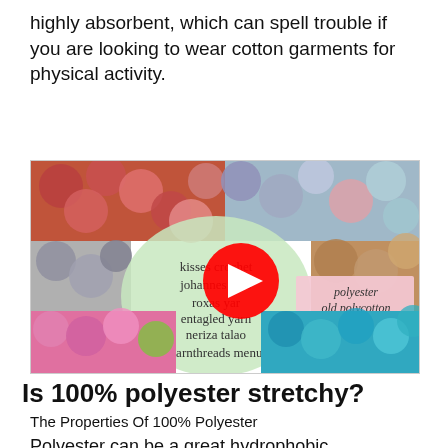highly absorbent, which can spell trouble if you are looking to wear cotton garments for physical activity.
[Figure (screenshot): YouTube video thumbnail showing colorful yarn balls and a YouTube play button overlay. Text on thumbnail includes 'kisses crochet', 'johannes de b...', 'roxas yar...', 'entagled yarn', 'neriza talao', 'yarnthreads menu', and a pink box listing 'polyester', 'old polycotton', 'new polycotton', 'spun poly', 'baguio poly'.]
Is 100% polyester stretchy?
The Properties Of 100% Polyester
Polyester can be a great hydrophobic